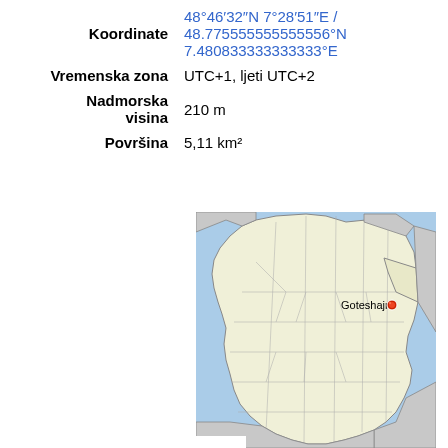| Koordinate | 48°46′32″N 7°28′51″E / 48.775555555555556°N 7.480833333333333°E |
| Vremenska zona | UTC+1, ljeti UTC+2 |
| Nadmorska visina | 210 m |
| Površina | 5,11 km² |
[Figure (map): Map of France showing location of Goteshajm marked with a red dot in the northeastern part of France (Alsace region).]